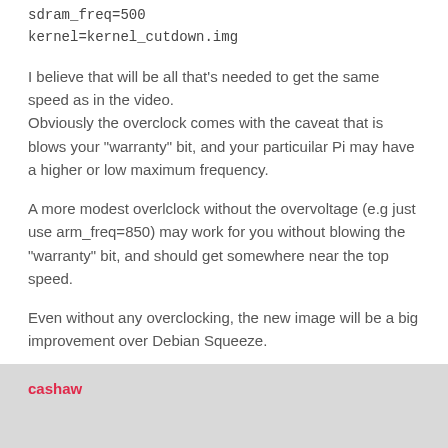sdram_freq=500
kernel=kernel_cutdown.img
I believe that will be all that's needed to get the same speed as in the video.
Obviously the overclock comes with the caveat that is blows your "warranty" bit, and your particuilar Pi may have a higher or low maximum frequency.
A more modest overlclock without the overvoltage (e.g just use arm_freq=850) may work for you without blowing the "warranty" bit, and should get somewhere near the top speed.
Even without any overclocking, the new image will be a big improvement over Debian Squeeze.
cashaw